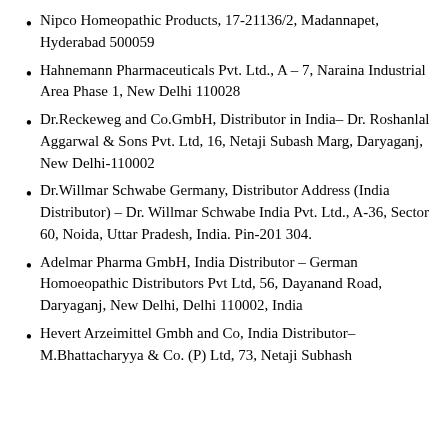Nipco Homeopathic Products, 17-21136/2, Madannapet, Hyderabad 500059
Hahnemann Pharmaceuticals Pvt. Ltd., A – 7, Naraina Industrial Area Phase 1, New Delhi 110028
Dr.Reckeweg and Co.GmbH, Distributor in India– Dr. Roshanlal Aggarwal & Sons Pvt. Ltd, 16, Netaji Subash Marg, Daryaganj, New Delhi-110002
Dr.Willmar Schwabe Germany, Distributor Address (India Distributor) – Dr. Willmar Schwabe India Pvt. Ltd., A-36, Sector 60, Noida, Uttar Pradesh, India. Pin-201 304.
Adelmar Pharma GmbH, India Distributor – German Homoeopathic Distributors Pvt Ltd, 56, Dayanand Road, Daryaganj, New Delhi, Delhi 110002, India
Hevert Arzeimittel Gmbh and Co, India Distributor– M.Bhattacharyya & Co. (P) Ltd, 73, Netaji Subhash